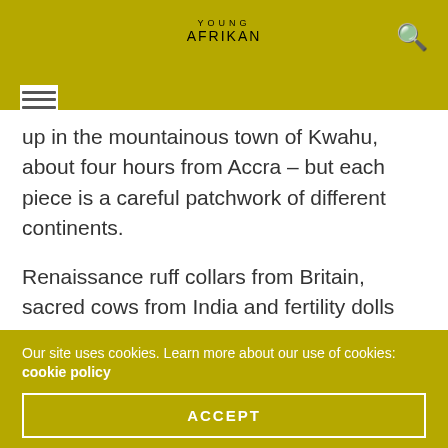YOUNG AFRIKAN
up in the mountainous town of Kwahu, about four hours from Accra – but each piece is a careful patchwork of different continents.
Renaissance ruff collars from Britain, sacred cows from India and fertility dolls from Ghana all feature.
“We live in a great melting pot – it has many cracks in it,” he says. “But I want to bring people together and for everyone to see their culture reflected.”
Our site uses cookies. Learn more about our use of cookies: cookie policy
ACCEPT